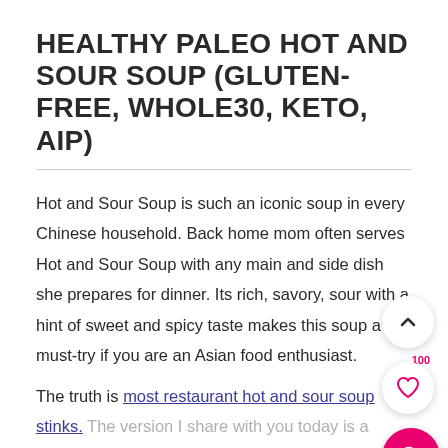HEALTHY PALEO HOT AND SOUR SOUP (GLUTEN-FREE, WHOLE30, KETO, AIP)
Hot and Sour Soup is such an iconic soup in every Chinese household. Back home mom often serves Hot and Sour Soup with any main and side dish she prepares for dinner. Its rich, savory, sour with a hint of sweet and spicy taste makes this soup a must-try if you are an Asian food enthusiast.
The truth is most restaurant hot and sour soup stinks. The version I share with you today is a